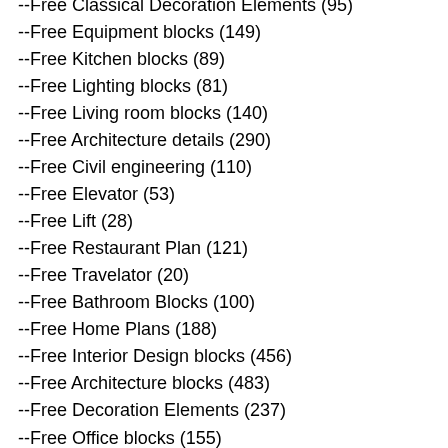--Free Classical Decoration Elements (95)
--Free Equipment blocks (149)
--Free Kitchen blocks (89)
--Free Lighting blocks (81)
--Free Living room blocks (140)
--Free Architecture details (290)
--Free Civil engineering (110)
--Free Elevator (53)
--Free Lift (28)
--Free Restaurant Plan (121)
--Free Travelator (20)
--Free Bathroom Blocks (100)
--Free Home Plans (188)
--Free Interior Design blocks (456)
--Free Architecture blocks (483)
--Free Decoration Elements (237)
--Free Office blocks (155)
--Free Furniture blocks (358)
--Free Animal Blocks (6)
--Free Car blocks (17)